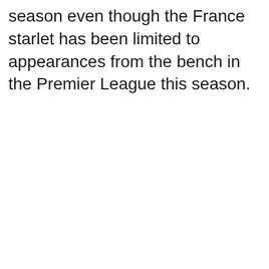season even though the France starlet has been limited to appearances from the bench in the Premier League this season.